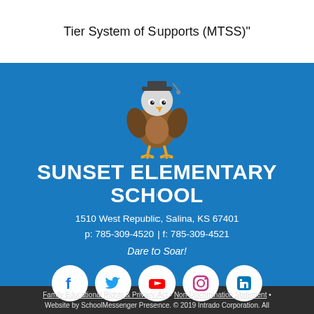Tier System of Supports (MTSS)"
[Figure (illustration): Cartoon eagle mascot with graduation cap, standing upright with arms crossed]
SUNSET ELEMENTARY SCHOOL
1510 West Republic, Salina, KS 67401
p: 785-309-4520 | f: 785-309-4521
Dare to Soar!
[Figure (other): Social media icons: Facebook, Twitter, YouTube, Instagram, LinkedIn in white circles on blue background]
Family Educational Rights & Privacy Act • Non-Discrimination Statement • Website by SchoolMessenger Presence. © 2019 Intrado Corporation. All